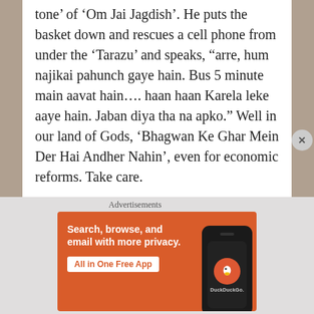tone’ of ‘Om Jai Jagdish’. He puts the basket down and rescues a cell phone from under the ‘Tarazu’ and speaks, “arre, hum najikai pahunch gaye hain. Bus 5 minute main aavat hain..... haan haan Karela leke aaye hain. Jaban diya tha na apko.” Well in our land of Gods, ‘Bhagwan Ke Ghar Mein Der Hai Andher Nahin’, even for economic reforms. Take care.
Share this:
[Figure (other): Tweet button with Twitter bird icon]
Advertisements
[Figure (other): DuckDuckGo advertisement banner: Search, browse, and email with more privacy. All in One Free App. Shows phone with DuckDuckGo logo.]